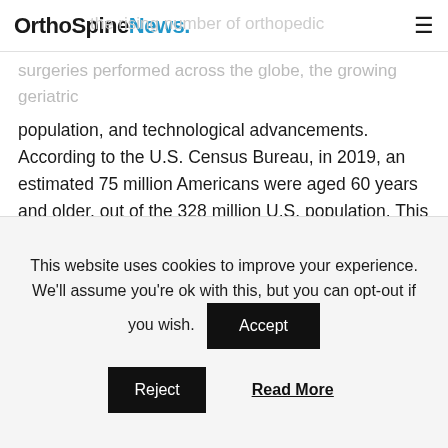OrthoSpineNews.
surgeries performed across the globe, the growing geriatric population, and technological advancements. According to the U.S. Census Bureau, in 2019, an estimated 75 million Americans were aged 60 years and older, out of the 328 million U.S. population. This indicates that a high number of the population in the country is vulnerable to chronic and acute orthopedic disorders, leading to an increased volume of surgeries.
Key Insights & Findings from the report:
The rising prevalence of chronic orthopedic disorders and
This website uses cookies to improve your experience. We'll assume you're ok with this, but you can opt-out if you wish.